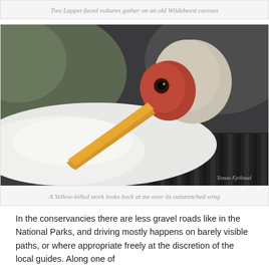Two Lappet-faced vultures gather on an old Wildebeest carcass
[Figure (photo): Close-up photograph of a Yellow-billed stork looking back over its outstretched white wing. The bird has a red face, orange-yellow bill, and white feathers with dark primary feathers visible. Background is blurred green and grey.]
A Yellow-billed stork looks back at me over its outstretched wing
In the conservancies there are less gravel roads like in the National Parks, and driving mostly happens on barely visible paths, or where appropriate freely at the discretion of the local guides. Along one of